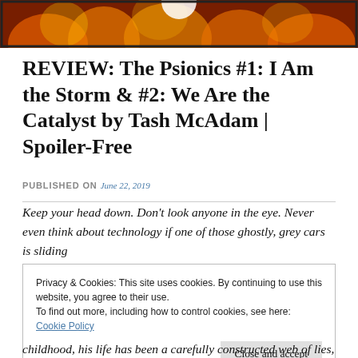[Figure (photo): Banner image showing flames/fire with a partial white circular logo or graphic at the top center, framed with a dark border.]
REVIEW: The Psionics #1: I Am the Storm & #2: We Are the Catalyst by Tash McAdam | Spoiler-Free
PUBLISHED ON June 22, 2019
Keep your head down. Don't look anyone in the eye. Never even think about technology if one of those ghostly, grey cars is sliding
Privacy & Cookies: This site uses cookies. By continuing to use this website, you agree to their use.
To find out more, including how to control cookies, see here: Cookie Policy
Close and accept
childhood, his life has been a carefully constructed web of lies,